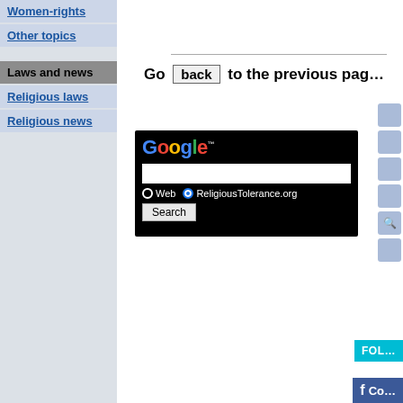Women-rights
Other topics
Laws and news
Religious laws
Religious news
Go back to the previous page
[Figure (screenshot): Google search widget with black background, search input field, Web and ReligiousTolerance.org radio buttons, and Search button]